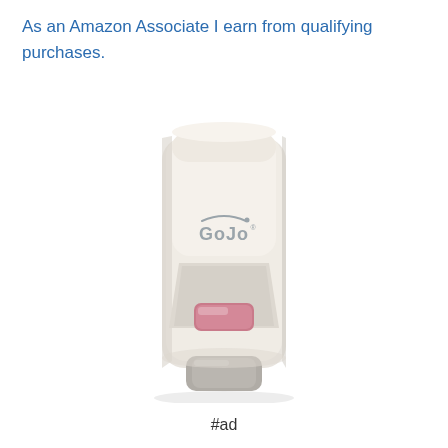As an Amazon Associate I earn from qualifying purchases.
[Figure (photo): A white GOJO brand wall-mounted soap/hand sanitizer dispenser with a pink/red soap indicator window and grey pump at the bottom, shown against a white background.]
#ad